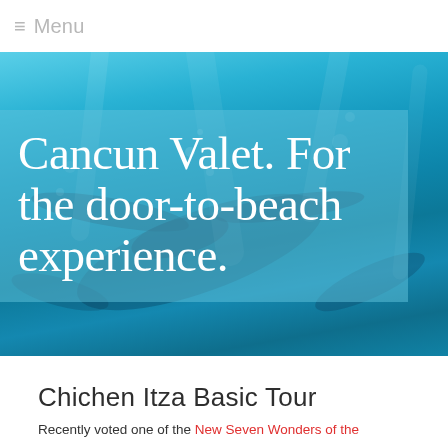≡ Menu
[Figure (photo): Hero image showing underwater scuba divers silhouetted against bright blue water, with a semi-transparent teal overlay box containing the headline text 'Cancun Valet. For the door-to-beach experience.']
Cancun Valet. For the door-to-beach experience.
Chichen Itza Basic Tour
Recently voted one of the New Seven Wonders of the